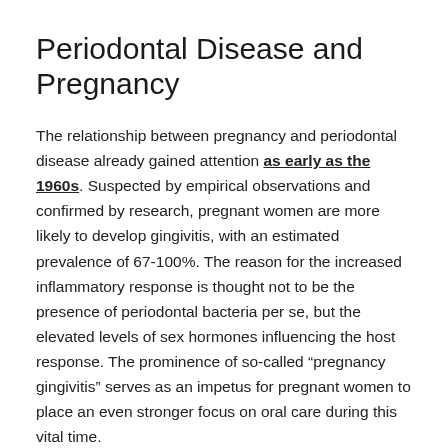Periodontal Disease and Pregnancy
The relationship between pregnancy and periodontal disease already gained attention as early as the 1960s. Suspected by empirical observations and confirmed by research, pregnant women are more likely to develop gingivitis, with an estimated prevalence of 67-100%. The reason for the increased inflammatory response is thought not to be the presence of periodontal bacteria per se, but the elevated levels of sex hormones influencing the host response. The prominence of so-called “pregnancy gingivitis” serves as an impetus for pregnant women to place an even stronger focus on oral care during this vital time.
When talking about pregnancy and periodontal disease, the term “bi-directional relationship” is mentioned frequently. Indeed, periodontal disease can have a